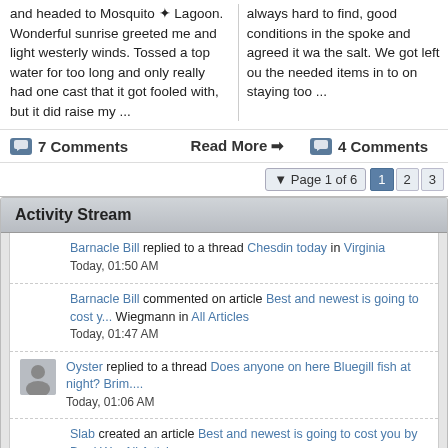and headed to Mosquito ✦ Lagoon. Wonderful sunrise greeted me and light westerly winds. Tossed a top water for too long and only really had one cast that it got fooled with, but it did raise my ...
always hard to find, good conditions in the spoke and agreed it wa the salt. We got left ou the needed items in to on staying too ...
7 Comments
Read More ➡
4 Comments
Page 1 of 6  1  2  3
Activity Stream
Barnacle Bill replied to a thread Chesdin today in Virginia
Today, 01:50 AM
Barnacle Bill commented on article Best and newest is going to cost y... Wiegmann in All Articles
Today, 01:47 AM
Oyster replied to a thread Does anyone on here Bluegill fish at night? Brim....
Today, 01:06 AM
Slab created an article Best and newest is going to cost you by Brad W... All Articles
Today, 12:57 AM
Prater4586 replied to a thread Kayak Trip Report, Buckeye Pond (2nd...
Yesterday, 10:52 PM
Dexterpreacher replied to a thread Welcome Mprbutcher in For Newbi...
Yesterday, 10:38 PM